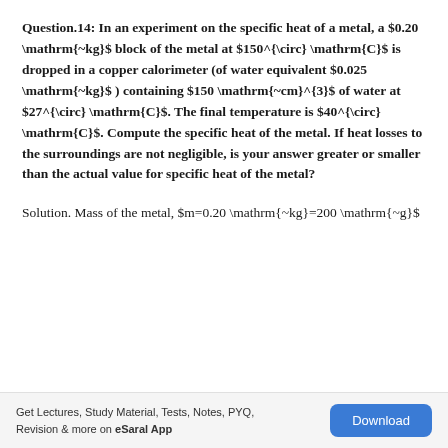Question.14: In an experiment on the specific heat of a metal, a $0.20 \mathrm{~kg}$ block of the metal at $150^{\circ} \mathrm{C}$ is dropped in a copper calorimeter (of water equivalent $0.025 \mathrm{~kg}$ ) containing $150 \mathrm{~cm}^{3}$ of water at $27^{\circ} \mathrm{C}$. The final temperature is $40^{\circ} \mathrm{C}$. Compute the specific heat of the metal. If heat losses to the surroundings are not negligible, is your answer greater or smaller than the actual value for specific heat of the metal?
Solution. Mass of the metal, $m=0.20 \mathrm{~kg}=200 \mathrm{~g}$
Get Lectures, Study Material, Tests, Notes, PYQ, Revision & more on eSaral App | Download